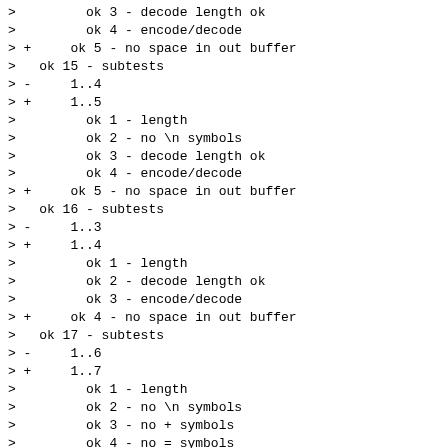>         ok 3 - decode length ok
>         ok 4 - encode/decode
> +     ok 5 - no space in out buffer
>   ok 15 - subtests
> -     1..4
> +     1..5
>         ok 1 - length
>         ok 2 - no \n symbols
>         ok 3 - decode length ok
>         ok 4 - encode/decode
> +     ok 5 - no space in out buffer
>   ok 16 - subtests
> -     1..3
> +     1..4
>         ok 1 - length
>         ok 2 - decode length ok
>         ok 3 - encode/decode
> +     ok 4 - no space in out buffer
>   ok 17 - subtests
> -     1..6
> +     1..7
>         ok 1 - length
>         ok 2 - no \n symbols
>         ok 3 - no + symbols
>         ok 4 - no = symbols
>         ok 5 - decode length ok
>         ok 6 - encode/decode
> +     ok 7 - no space in out buffer
>   ok 18 - subtests
> -     1..4